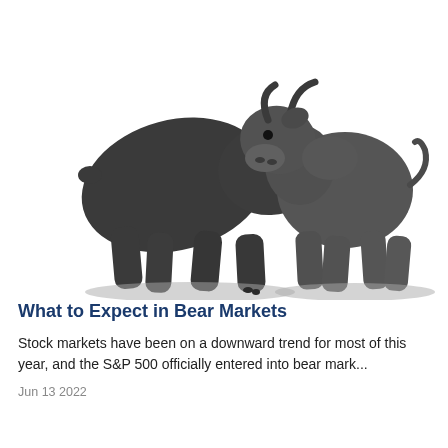[Figure (photo): Black and white photo illustration of a bear figurine on the left facing right, and a bull figurine on the right facing left, representing bear and bull market concepts.]
What to Expect in Bear Markets
Stock markets have been on a downward trend for most of this year, and the S&P 500 officially entered into bear mark...
Jun 13 2022